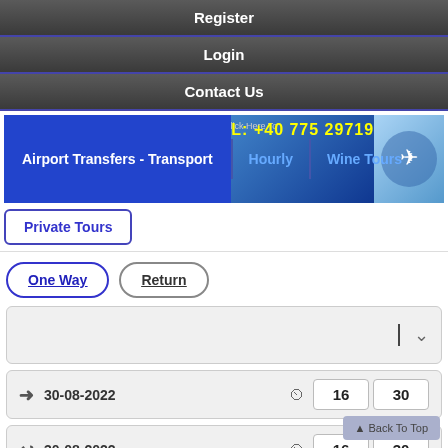Register
Login
Contact Us
[Figure (screenshot): Airport transfer booking banner with navigation tabs: Airport Transfers - Transport, Hourly, Wine Tours, telephone number TEL: +40 775 297197]
Private Tours
One Way
Return
30-08-2022  16  30
30-08-2022  16  30
0
0